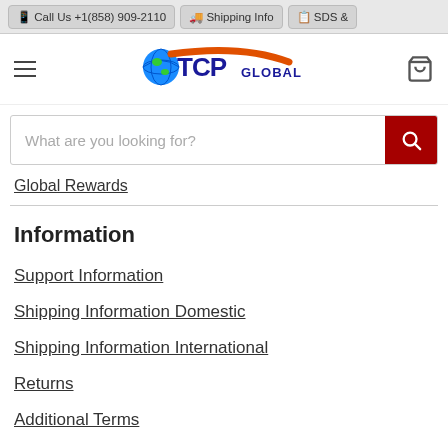📱 Call Us +1(858) 909-2110 | 🚚 Shipping Info | 📋 SDS &
[Figure (logo): TCP Global logo with globe icon and orange swoosh]
What are you looking for?
Global Rewards
Information
Support Information
Shipping Information Domestic
Shipping Information International
Returns
Additional Terms